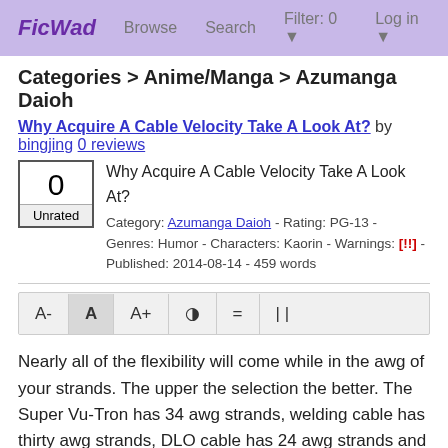FicWad   Browse   Search   Filter: 0 ▼   Log in ▼
Categories > Anime/Manga > Azumanga Daioh
Why Acquire A Cable Velocity Take A Look At? by bingjing 0 reviews
Why Acquire A Cable Velocity Take A Look At?
Category: Azumanga Daioh - Rating: PG-13 - Genres: Humor - Characters: Kaorin - Warnings: [!!] - Published: 2014-08-14 - 459 words
[Figure (other): Font size and display controls bar with buttons: A-, A, A+, contrast icon, equals icon, pause icon]
Nearly all of the flexibility will come while in the awg of your strands. The upper the selection the better. The Super Vu-Tron has 34 awg strands, welding cable has thirty awg strands, DLO cable has 24 awg strands and also the least flexible electrical wire has 19 awg strands. So ensure you ask that dilemma before purchasing one thing that someone tells you is flexible. Welding cable is